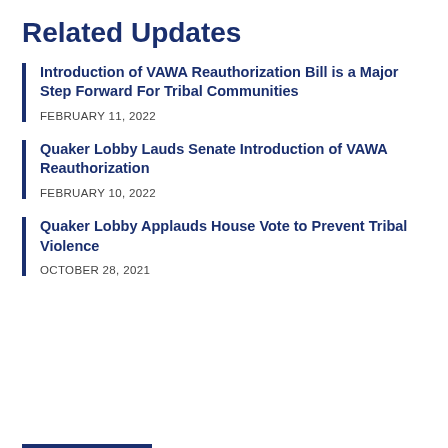Related Updates
Introduction of VAWA Reauthorization Bill is a Major Step Forward For Tribal Communities
FEBRUARY 11, 2022
Quaker Lobby Lauds Senate Introduction of VAWA Reauthorization
FEBRUARY 10, 2022
Quaker Lobby Applauds House Vote to Prevent Tribal Violence
OCTOBER 28, 2021